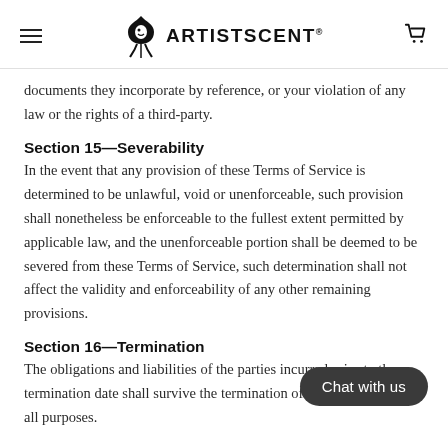ARTISTSCENT
documents they incorporate by reference, or your violation of any law or the rights of a third-party.
Section 15—Severability
In the event that any provision of these Terms of Service is determined to be unlawful, void or unenforceable, such provision shall nonetheless be enforceable to the fullest extent permitted by applicable law, and the unenforceable portion shall be deemed to be severed from these Terms of Service, such determination shall not affect the validity and enforceability of any other remaining provisions.
Section 16—Termination
The obligations and liabilities of the parties incurred prior to the termination date shall survive the termination of this agreement for all purposes.